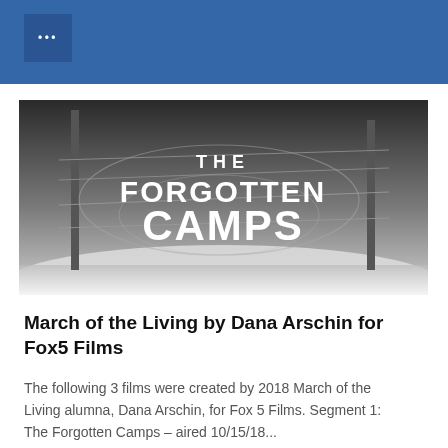...
[Figure (illustration): Black and white promotional image for 'The Forgotten Camps' documentary film, showing barbed wire fences and ominous sky with bold white text reading 'THE FORGOTTEN CAMPS']
March of the Living by Dana Arschin for Fox5 Films
The following 3 films were created by 2018 March of the Living alumna, Dana Arschin, for Fox 5 Films. Segment 1: The Forgotten Camps – aired 10/15/18...